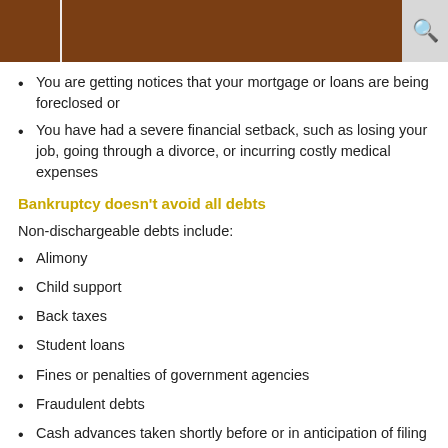You are getting notices that your mortgage or loans are being foreclosed or
You have had a severe financial setback, such as losing your job, going through a divorce, or incurring costly medical expenses
Bankruptcy doesn't avoid all debts
Non-dischargeable debts include:
Alimony
Child support
Back taxes
Student loans
Fines or penalties of government agencies
Fraudulent debts
Cash advances taken shortly before or in anticipation of filing bankruptcy